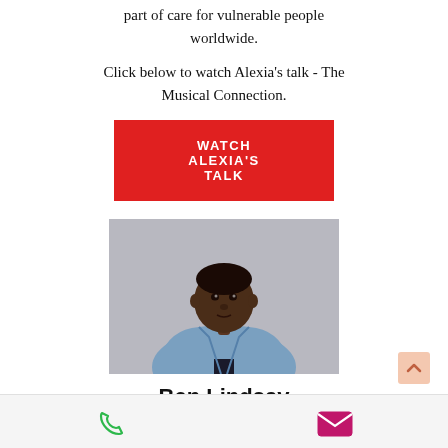part of care for vulnerable people worldwide.
Click below to watch Alexia's talk - The Musical Connection.
WATCH ALEXIA'S TALK
[Figure (photo): Headshot of Ben Lindsay, a Black man wearing a denim jacket over a dark shirt, looking upward against a light grey background.]
Ben Lindsay
Ben is founder of Power The Fight, a charity which launched in Jan 2019 to
[Figure (infographic): Footer bar with phone icon (green) on the left and mail/envelope icon (magenta/pink) on the right.]